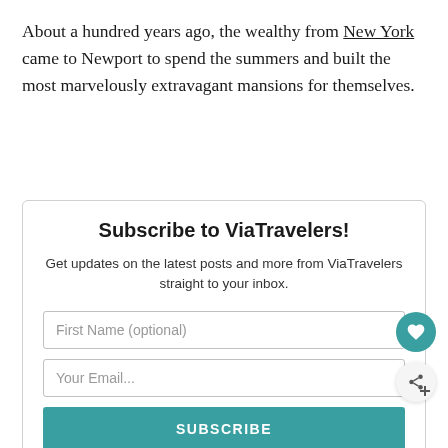About a hundred years ago, the wealthy from New York came to Newport to spend the summers and built the most marvelously extravagant mansions for themselves.
Subscribe to ViaTravelers!
Get updates on the latest posts and more from ViaTravelers straight to your inbox.